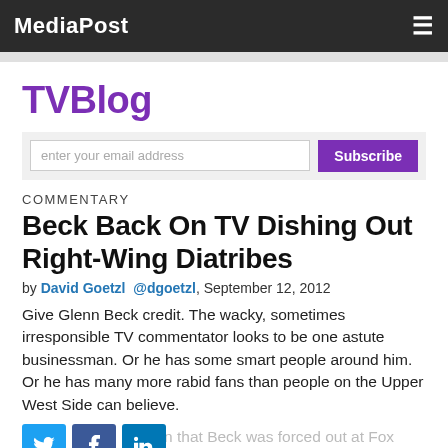MediaPost
TVBlog
enter your email address | Subscribe
COMMENTARY
Beck Back On TV Dishing Out Right-Wing Diatribes
by David Goetzl @dgoetzl, September 12, 2012
Give Glenn Beck credit. The wacky, sometimes irresponsible TV commentator looks to be one astute businessman. Or he has some smart people around him. Or he has many more rabid fans than people on the Upper West Side can believe.
ion that Beck was forced out at Fox er Ailes wanted nothing to do with him,